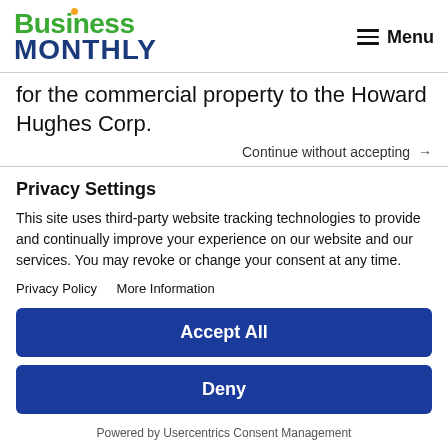Business Monthly | Menu
for the commercial property to the Howard Hughes Corp.
Continue without accepting →
Privacy Settings
This site uses third-party website tracking technologies to provide and continually improve your experience on our website and our services. You may revoke or change your consent at any time.
Privacy Policy   More Information
Accept All
Deny
Powered by Usercentrics Consent Management